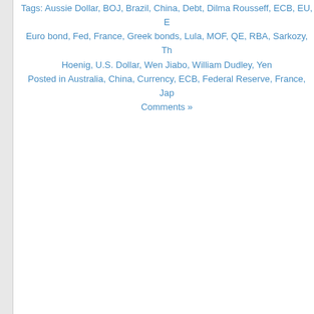Tags: Aussie Dollar, BOJ, Brazil, China, Debt, Dilma Rousseff, ECB, EU, Euro bond, Fed, France, Greek bonds, Lula, MOF, QE, RBA, Sarkozy, Th Hoenig, U.S. Dollar, Wen Jiabo, William Dudley, Yen
Posted in Australia, China, Currency, ECB, Federal Reserve, France, Jap
Comments »